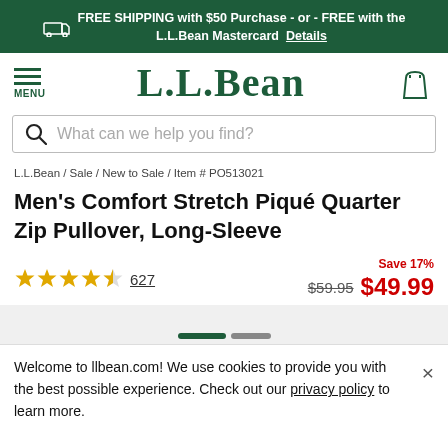FREE SHIPPING with $50 Purchase - or - FREE with the L.L.Bean Mastercard Details
[Figure (logo): L.L.Bean logo and navigation bar with hamburger menu and shopping bag icon]
What can we help you find?
L.L.Bean / Sale / New to Sale / Item # PO513021
Men's Comfort Stretch Piqué Quarter Zip Pullover, Long-Sleeve
Save 17%  $59.95  $49.99  ★★★★½  627
Welcome to llbean.com! We use cookies to provide you with the best possible experience. Check out our privacy policy to learn more.